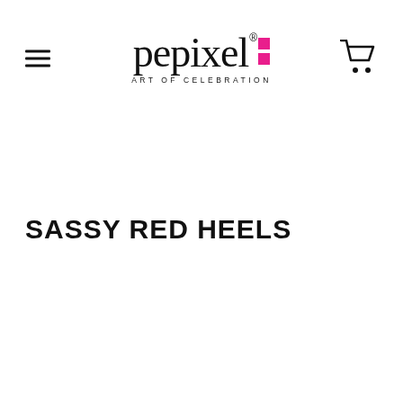[Figure (logo): Pepixel logo with tagline 'ART OF CELEBRATION'. The word 'pepixel' in serif font with two pink squares after the 'l', and a registered trademark symbol.]
SASSY RED HEELS